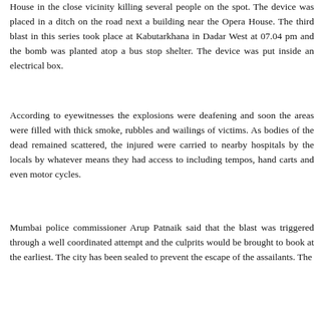House in the close vicinity killing several people on the spot. The device was placed in a ditch on the road next a building near the Opera House. The third blast in this series took place at Kabutarkhana in Dadar West at 07.04 pm and the bomb was planted atop a bus stop shelter. The device was put inside an electrical box.
According to eyewitnesses the explosions were deafening and soon the areas were filled with thick smoke, rubbles and wailings of victims. As bodies of the dead remained scattered, the injured were carried to nearby hospitals by the locals by whatever means they had access to including tempos, hand carts and even motor cycles.
Mumbai police commissioner Arup Patnaik said that the blast was triggered through a well coordinated attempt and the culprits would be brought to book at the earliest. The city has been sealed to prevent the escape of the assailants. The